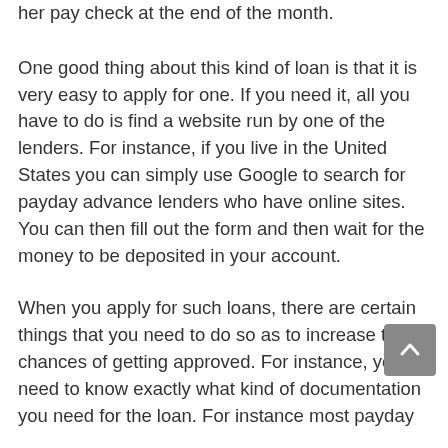her pay check at the end of the month.
One good thing about this kind of loan is that it is very easy to apply for one. If you need it, all you have to do is find a website run by one of the lenders. For instance, if you live in the United States you can simply use Google to search for payday advance lenders who have online sites. You can then fill out the form and then wait for the money to be deposited in your account.
When you apply for such loans, there are certain things that you need to do so as to increase the chances of getting approved. For instance, you need to know exactly what kind of documentation you need for the loan. For instance most payday